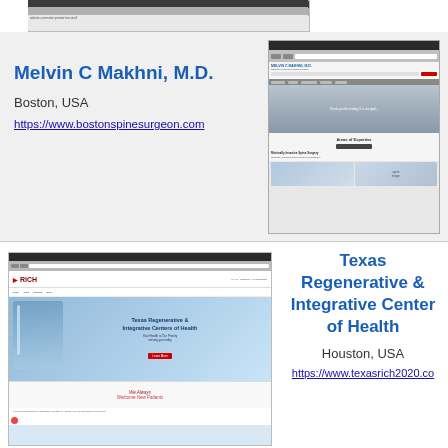[Figure (screenshot): Website screenshot at top of page (small, partial view of a medical website)]
[Figure (screenshot): Screenshot of bostonspinesurgeon.com - Melvin C Makhni MD website showing Areas of Expertise section with minimally invasive spine surgery]
Melvin C Makhni, M.D.
Boston, USA
https://www.bostonspinesurgeon.com
[Figure (screenshot): Screenshot of Texas Regenerative & Integrative Centers of Health (RICH) website showing logo, hero image with DNA strand, and We Always Welcome New Patients section]
Texas Regenerative & Integrative Centers of Health
Houston, USA
https://www.texasrich2020.co